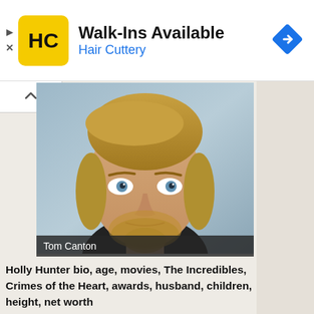[Figure (other): Hair Cuttery advertisement banner with yellow HC logo, bold text 'Walk-Ins Available', blue subtitle 'Hair Cuttery', and blue diamond navigation icon on right]
[Figure (photo): Headshot of Tom Canton, a blond man with blue eyes and beard, wearing a dark shirt, against a blue-grey studio background]
Tom Canton
Holly Hunter bio, age, movies, The Incredibles, Crimes of the Heart, awards, husband, children, height, net worth